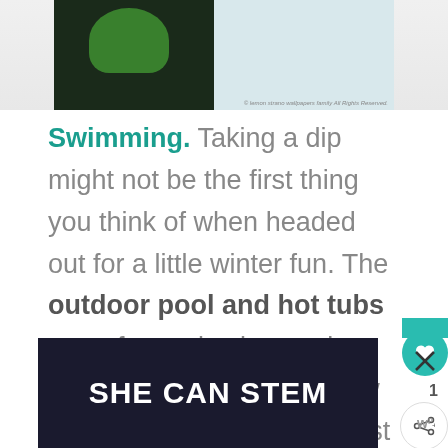[Figure (photo): Top portion of a winter outdoor photo showing a dark object and green element against white/light blue snowy background with small copyright caption]
Swimming. Taking a dip might not be the first thing you think of when headed out for a little winter fun. The outdoor pool and hot tubs are a fantastic place to let the kids dive in, make a few friends and see just how fast a cup of snow can melt when heated by hot tub steam.
[Figure (photo): Bottom banner advertisement with dark navy background and white bold text reading SHE CAN STEM]